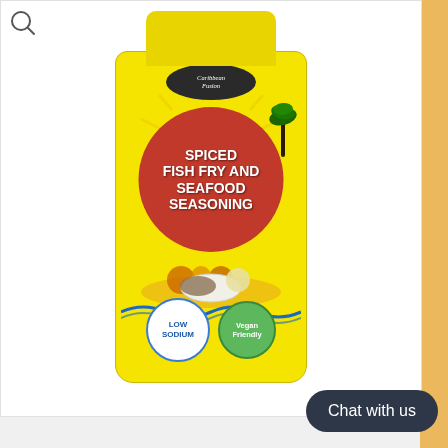[Figure (photo): A glass jar of Caribbean Fusion Spiced Fish Fry and Seafood Seasoning with a yellow lid and label. The label features a red circle with the product name in white bold text, a palm tree silhouette, sun rays, seafood food imagery, blue wave decorations, and two badges: 'LOW SODIUM' in a white circle and 'Vegan Friendly' in a green circle.]
Chat with us